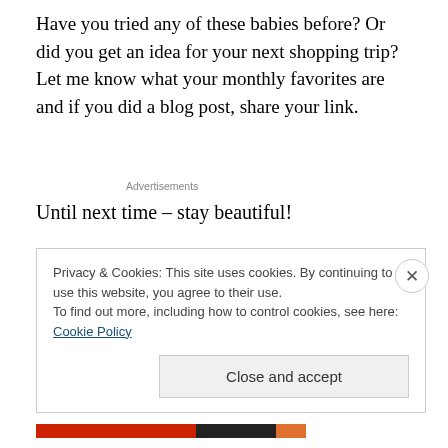Have you tried any of these babies before? Or did you get an idea for your next shopping trip? Let me know what your monthly favorites are and if you did a blog post, share your link.
Advertisements
Until next time – stay beautiful!
Privacy & Cookies: This site uses cookies. By continuing to use this website, you agree to their use.
To find out more, including how to control cookies, see here: Cookie Policy
Close and accept